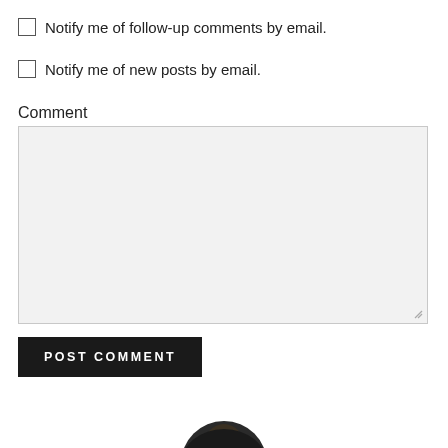Notify me of follow-up comments by email.
Notify me of new posts by email.
Comment
[Figure (screenshot): Empty comment textarea input box with light gray background and resize handle]
POST COMMENT
[Figure (photo): Circular avatar photo, partially visible at bottom of page]